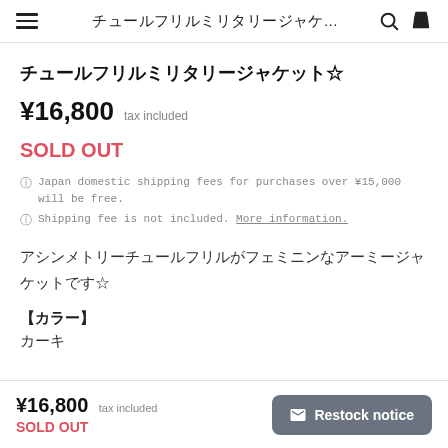チュールフリルミリタリージャケ...
チュールフリルミリタリージャケット☆
¥16,800  tax included
SOLD OUT
Japan domestic shipping fees for purchases over ¥15,000 will be free.
Shipping fee is not included. More information.
アシンメトリーチュールフリルがフェミニンなアーミージャケットです☆
【カラー】
カーキ
¥16,800  tax included  SOLD OUT  ✉ Restock notice